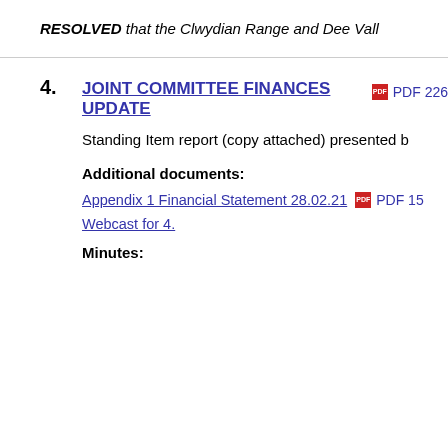RESOLVED that the Clwydian Range and Dee Vall
4. JOINT COMMITTEE FINANCES UPDATE   PDF 226
Standing Item report (copy attached) presented b
Additional documents:
Appendix 1 Financial Statement 28.02.21   PDF 15
Webcast for 4.
Minutes: